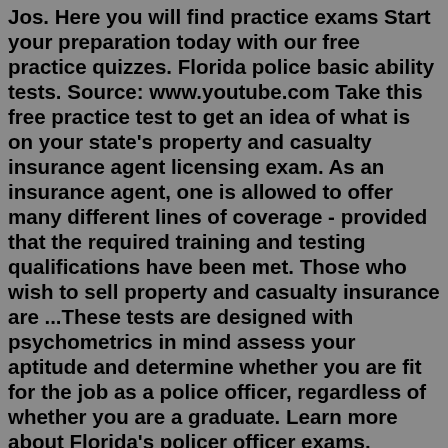Jos. Here you will find practice exams Start your preparation today with our free practice quizzes. Florida police basic ability tests. Source: www.youtube.com Take this free practice test to get an idea of what is on your state's property and casualty insurance agent licensing exam. As an insurance agent, one is allowed to offer many different lines of coverage - provided that the required training and testing qualifications have been met. Those who wish to sell property and casualty insurance are ...These tests are designed with psychometrics in mind assess your aptitude and determine whether you are fit for the job as a police officer, regardless of whether you are a graduate. Learn more about Florida's policer officer exams. Correctional Officer ExamsFree online practice test sample test questions for law enforcement type exams applicable to police officer, environmental police officer, highway patrol, POST Police Officer Selection Test, CJBAT corrections law enforcement, security guard, security officer, examinations federal, state,